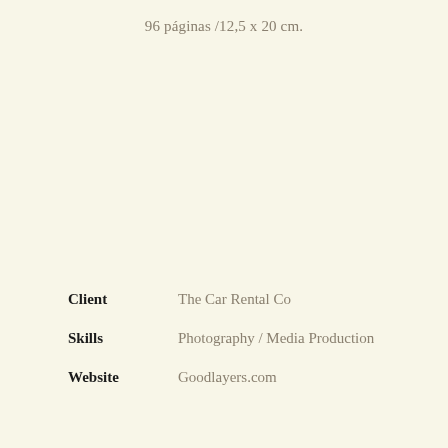96 páginas /12,5 x 20 cm.
Client: The Car Rental Co
Skills: Photography / Media Production
Website: Goodlayers.com